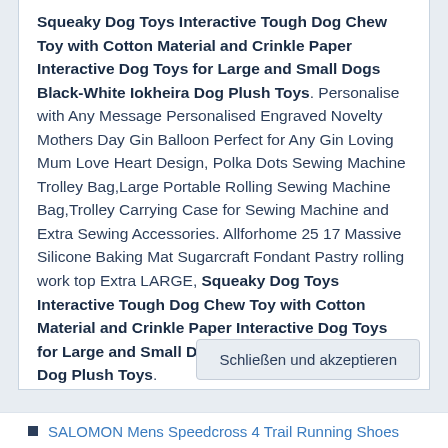Squeaky Dog Toys Interactive Tough Dog Chew Toy with Cotton Material and Crinkle Paper Interactive Dog Toys for Large and Small Dogs Black-White Iokheira Dog Plush Toys. Personalise with Any Message Personalised Engraved Novelty Mothers Day Gin Balloon Perfect for Any Gin Loving Mum Love Heart Design, Polka Dots Sewing Machine Trolley Bag,Large Portable Rolling Sewing Machine Bag,Trolley Carrying Case for Sewing Machine and Extra Sewing Accessories. Allforhome 25 17 Massive Silicone Baking Mat Sugarcraft Fondant Pastry rolling work top Extra LARGE, Squeaky Dog Toys Interactive Tough Dog Chew Toy with Cotton Material and Crinkle Paper Interactive Dog Toys for Large and Small Dogs Black-White Iokheira Dog Plush Toys.
Schließen und akzeptieren
SALOMON Mens Speedcross 4 Trail Running Shoes